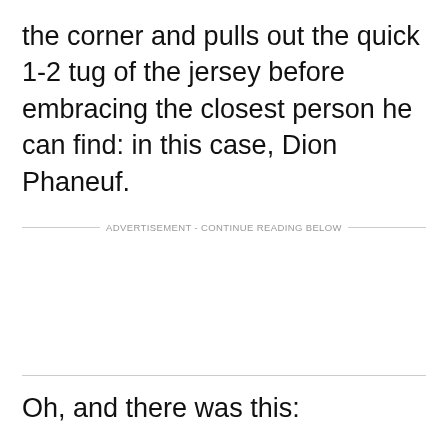the corner and pulls out the quick 1-2 tug of the jersey before embracing the closest person he can find: in this case, Dion Phaneuf.
ADVERTISEMENT - CONTINUE READING BELOW
Oh, and there was this: